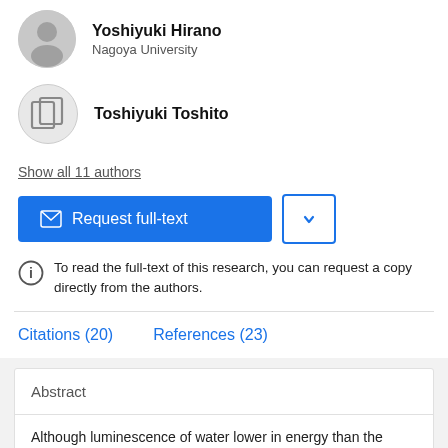Yoshiyuki Hirano
Nagoya University
Toshiyuki Toshito
Show all 11 authors
[Figure (other): Request full-text button (blue) with envelope icon and dropdown arrow button]
To read the full-text of this research, you can request a copy directly from the authors.
Citations (20)
References (23)
Abstract
Although luminescence of water lower in energy than the